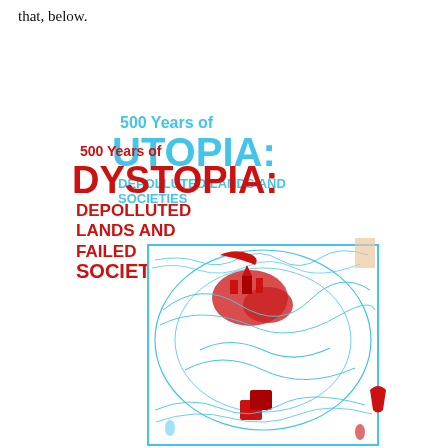that, below.
[Figure (illustration): Book cover collage showing two overlapping book covers: '500 Years of UTOPIA' in cyan/blue text and '500 Years of DYSTOPIA: Depolluted Lands and Failed Societies' in red text, with an intricate blue and red illustrated map/artwork of a fantastical city or island beneath.]